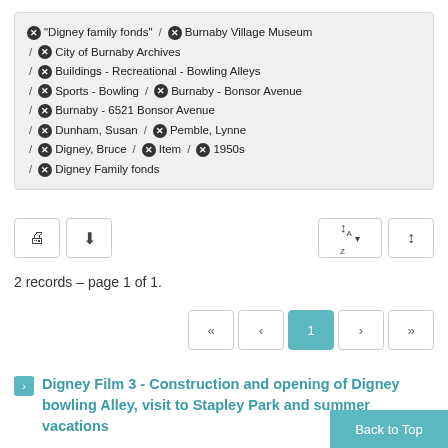"Digney family fonds" / Burnaby Village Museum / City of Burnaby Archives / Buildings - Recreational - Bowling Alleys / Sports - Bowling / Burnaby - Bonsor Avenue / Burnaby - 6521 Bonsor Avenue / Dunham, Susan / Pemble, Lynne / Digney, Bruce / Item / 1950s / Digney Family fonds
2 records – page 1 of 1.
Digney Film 3 - Construction and opening of Digney bowling Alley, visit to Stapley Park and summer vacations